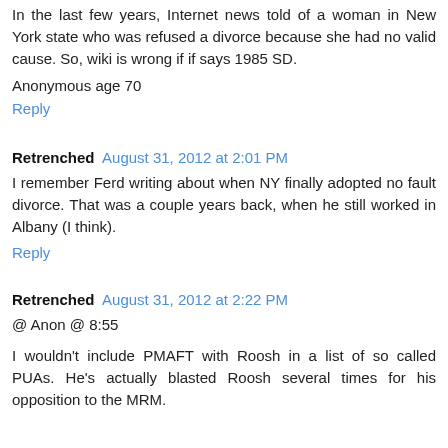In the last few years, Internet news told of a woman in New York state who was refused a divorce because she had no valid cause. So, wiki is wrong if if says 1985 SD.
Anonymous age 70
Reply
Retrenched  August 31, 2012 at 2:01 PM
I remember Ferd writing about when NY finally adopted no fault divorce. That was a couple years back, when he still worked in Albany (I think).
Reply
Retrenched  August 31, 2012 at 2:22 PM
@ Anon @ 8:55
I wouldn't include PMAFT with Roosh in a list of so called PUAs. He's actually blasted Roosh several times for his opposition to the MRM.